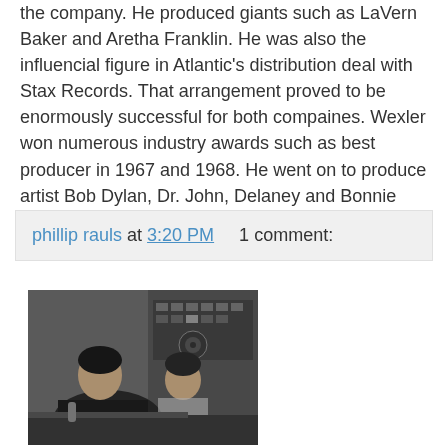the company. He produced giants such as LaVern Baker and Aretha Franklin. He was also the influencial figure in Atlantic's distribution deal with Stax Records. That arrangement proved to be enormously successful for both compaines. Wexler won numerous industry awards such as best producer in 1967 and 1968. He went on to produce artist Bob Dylan, Dr. John, Delaney and Bonnie and Dire Straits. Jerry Wexler is a living legend.
phillip rauls at 3:20 PM   1 comment:
[Figure (photo): Black and white photograph of two men in a recording studio, seated near mixing equipment and control panels.]